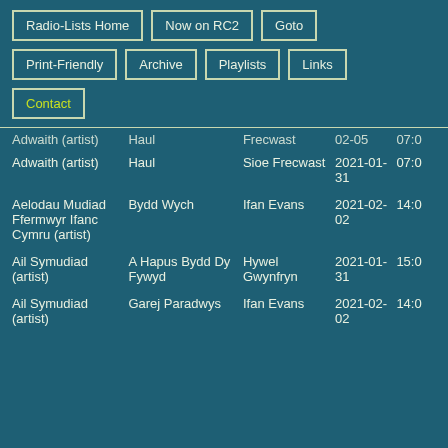Radio-Lists Home
Now on RC2
Goto
Print-Friendly
Archive
Playlists
Links
Contact
| Artist | Track | Show | Date | Time |
| --- | --- | --- | --- | --- |
| Adwaith (artist) | Haul | Frecwast | 02-05 | 07:0 |
| Adwaith (artist) | Haul | Sioe Frecwast | 2021-01-31 | 07:0 |
| Aelodau Mudiad Ffermwyr Ifanc Cymru (artist) | Bydd Wych | Ifan Evans | 2021-02-02 | 14:0 |
| Ail Symudiad (artist) | A Hapus Bydd Dy Fywyd | Hywel Gwynfryn | 2021-01-31 | 15:0 |
| Ail Symudiad (artist) | Garej Paradwys | Ifan Evans | 2021-02-02 | 14:0 |